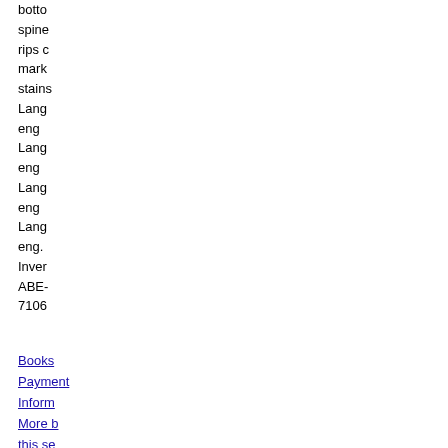botto spine rips c mark stains Lang eng Lang eng Lang eng Lang eng. Inver ABE- 7106
Books Payment Inform More b this se Conta
2.
[Figure (photo): Book cover showing 'GREAT' in large letters with authors Morton W. Bloomfield and Robert C. Elliott on a golden/brown background]
Great Soph to A...